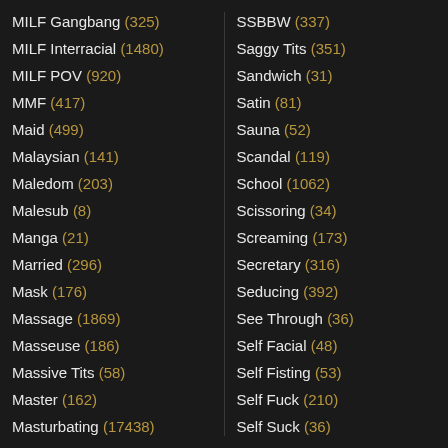MILF Gangbang (325)
SSBBW (337)
MILF Interracial (1480)
Saggy Tits (351)
MILF POV (920)
Sandwich (31)
MMF (417)
Satin (81)
Maid (499)
Sauna (52)
Malaysian (141)
Scandal (119)
Maledom (203)
School (1062)
Malesub (8)
Scissoring (34)
Manga (21)
Screaming (173)
Married (296)
Secretary (316)
Mask (176)
Seducing (392)
Massage (1869)
See Through (36)
Masseuse (186)
Self Facial (48)
Massive Tits (58)
Self Fisting (53)
Master (162)
Self Fuck (210)
Masturbating (17438)
Self Suck (36)